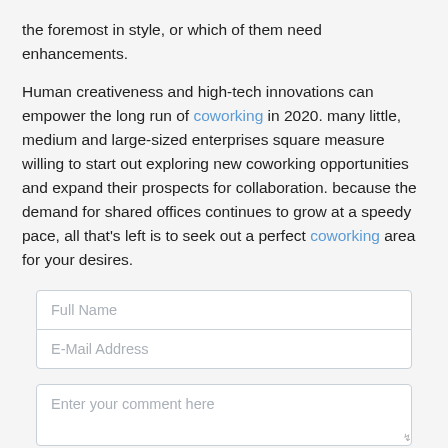the foremost in style, or which of them need enhancements.
Human creativeness and high-tech innovations can empower the long run of coworking in 2020. many little, medium and large-sized enterprises square measure willing to start out exploring new coworking opportunities and expand their prospects for collaboration. because the demand for shared offices continues to grow at a speedy pace, all that's left is to seek out a perfect coworking area for your desires.
Full Name
E-Mail Address
Enter your comment here